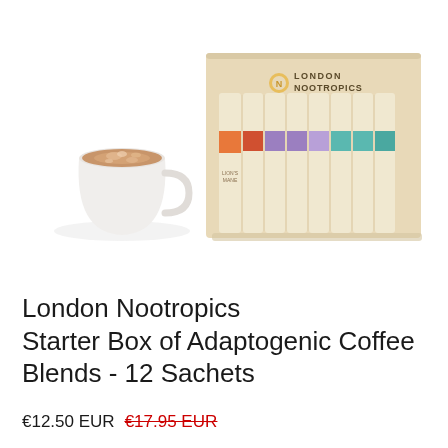[Figure (photo): Product photo showing a white cup of latte coffee on the left and a beige/tan London Nootropics branded box on the right containing 12 upright sachets with colored bands (orange, purple, teal) in various positions. The box lid shows the London Nootropics logo and name. Background is white.]
London Nootropics Starter Box of Adaptogenic Coffee Blends - 12 Sachets
€12.50 EUR  €17.95 EUR